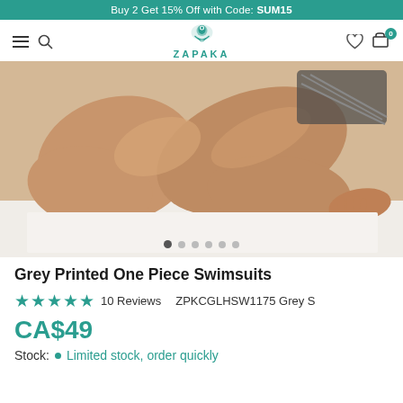Buy 2 Get 15% Off with Code: SUM15
[Figure (logo): ZAPAKA brand logo with decorative figure icon above the text ZAPAKA]
[Figure (photo): Close-up photo of a model's legs wearing a grey printed one piece swimsuit, sitting on a white surface. Six navigation dots at the bottom of the image indicating a photo carousel.]
Grey Printed One Piece Swimsuits
★★★★★ 10 Reviews   ZPKCGLHSW1175 Grey S
CA$49
Stock: • Limited stock, order quickly